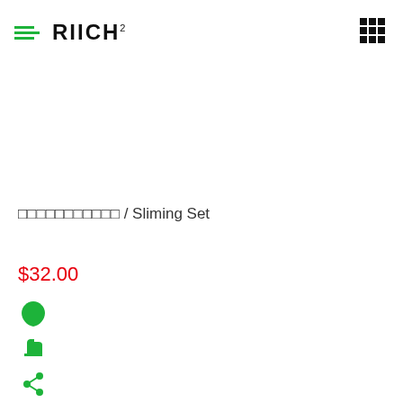RIICH
□□□□□□□□□□□ / Sliming Set
$32.00